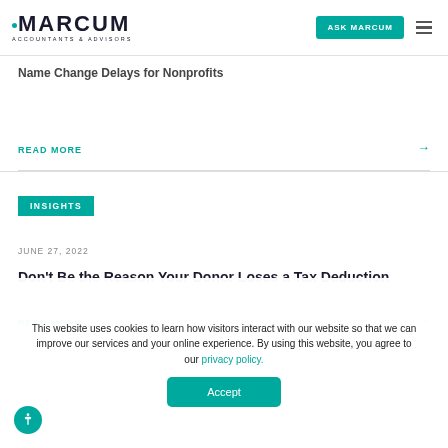MARCUM ACCOUNTANTS & ADVISORS | ASK MARCUM
Name Change Delays for Nonprofits
READ MORE →
INSIGHTS
JUNE 27, 2022
Don't Be the Reason Your Donor Loses a Tax Deduction
READ MORE →
This website uses cookies to learn how visitors interact with our website so that we can improve our services and your online experience. By using this website, you agree to our privacy policy.
Accept